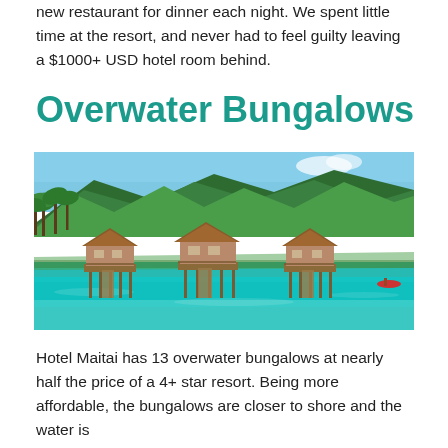new restaurant for dinner each night. We spent little time at the resort, and never had to feel guilty leaving a $1000+ USD hotel room behind.
Overwater Bungalows
[Figure (photo): Overwater bungalows with thatched roofs built on stilts over turquoise water, with lush green hills and palm trees in the background.]
Hotel Maitai has 13 overwater bungalows at nearly half the price of a 4+ star resort. Being more affordable, the bungalows are closer to shore and the water is